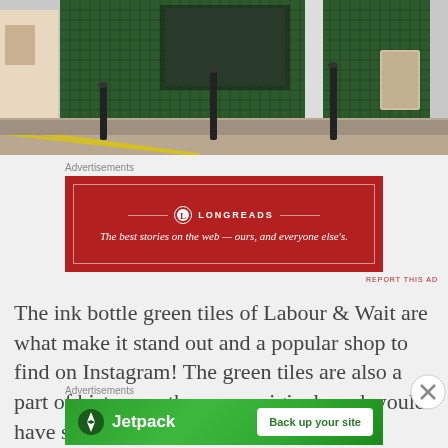[Figure (photo): Street scene showing a shop with dark ink-bottle green tiled exterior facade, black bollards on a cobblestone sidewalk, and signage on the building.]
Advertisements
[Figure (other): Longreads advertisement banner: dark red background with white Longreads logo and text 'The best stories on the web — ours, and everyone else's.']
The ink bottle green tiles of Labour & Wait are what make it stand out and a popular shop to find on Instagram! The green tiles are also a part of history as these are originals and would have shown that the pub
Advertisements
[Figure (other): Jetpack advertisement banner: green gradient background with Jetpack logo icon and name on left, white button 'Back up your site' on right.]